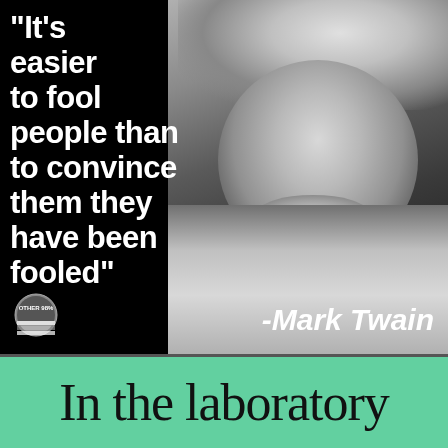[Figure (illustration): Black and white photograph of Mark Twain (elderly man with white hair and mustache, wearing a suit) overlaid with a quote on a black background, and a small 'Other 98%' badge in the lower left corner.]
"It's easier to fool people than to convince them they have been fooled"
-Mark Twain
In the laboratory